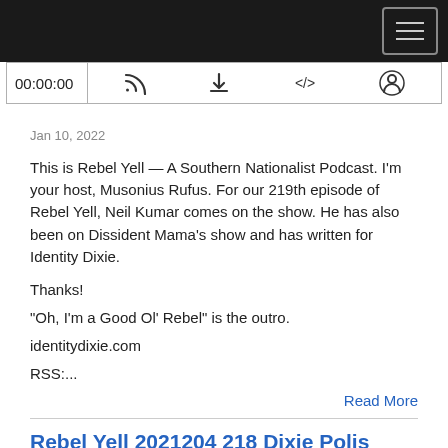[Figure (screenshot): Dark top navigation bar with hamburger menu button (three horizontal lines) on the right side]
[Figure (screenshot): Audio player bar showing 00:00:00 timestamp and icons for RSS feed, download, embed code, and user account]
Jan 10, 2022
This is Rebel Yell — A Southern Nationalist Podcast. I'm your host, Musonius Rufus. For our 219th episode of Rebel Yell, Neil Kumar comes on the show. He has also been on Dissident Mama's show and has written for Identity Dixie.
Thanks!
"Oh, I'm a Good Ol' Rebel" is the outro.
identitydixie.com
RSS:....
Read More
Rebel Yell 2021204 218 Dixie Polis